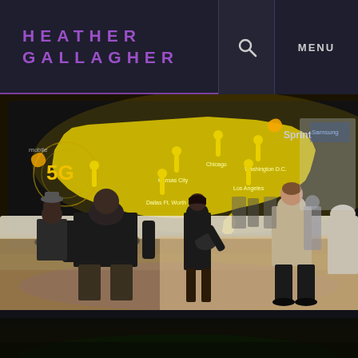HEATHER GALLAGHER
[Figure (photo): Sprint 5G booth at a trade show/convention. People stand viewing a large backlit display showing a glowing yellow map of the United States with location pins marking cities (Kansas City, Dallas/Fort Worth, Chicago, Los Angeles, Washington D.C., and others). The Sprint logo and '5G' branding are visible on the left side of the display. Several attendees including a woman in black clothing and a man in a dark shirt are visible from behind.]
[Figure (photo): Partial view of a second photo showing a dark outdoor or indoor scene, cropped at the bottom of the page.]